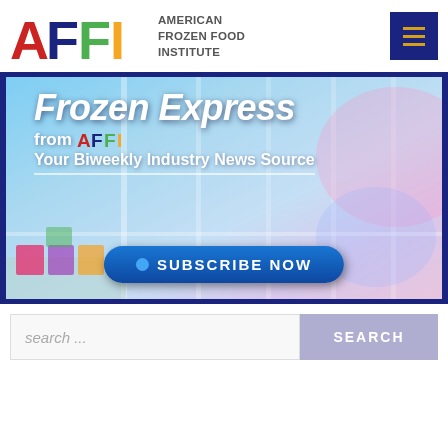[Figure (logo): AFFI - American Frozen Food Institute logo with colorful A, F, F, I letters and text]
[Figure (infographic): Frozen Express from AFFI - Your Biweekly Industry News Source banner with Subscribe Now button over a frozen food aisle background]
search...
SEARCH